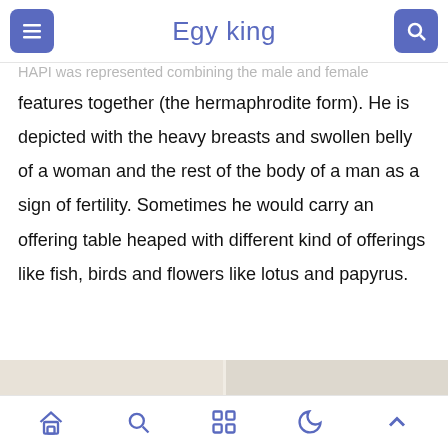Egy king
HAPI was represented combining the male and female features together (the hermaphrodite form). He is depicted with the heavy breasts and swollen belly of a woman and the rest of the body of a man as a sign of fertility. Sometimes he would carry an offering table heaped with different kind of offerings like fish, birds and flowers like lotus and papyrus.
[Figure (photo): Two decorative chandelier or candelabra artifacts, cream/white and gold colored, with ornate scrollwork and figurines, photographed side by side.]
Navigation bar with home, search, grid, moon, and up-arrow icons